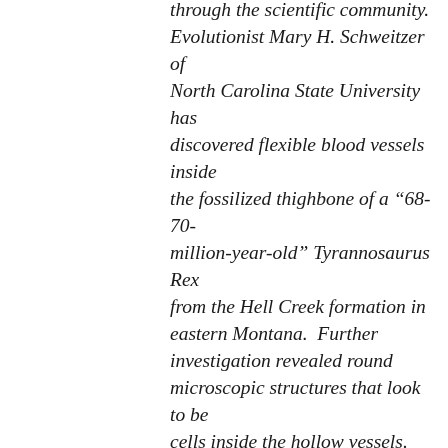through the scientific community. Evolutionist Mary H. Schweitzer of North Carolina State University has discovered flexible blood vessels inside the fossilized thighbone of a “68-70-million-year-old” Tyrannosaurus Rex from the Hell Creek formation in eastern Montana.  Further investigation revealed round microscopic structures that look to be cells inside the hollow vessels.  Even to the untrained eye, the tissue samples look as if the animal died recently. Fibrous protein material was dissolved with an enzyme called collagenase, indicating that amino acid sequencing could probably be done (amino acids